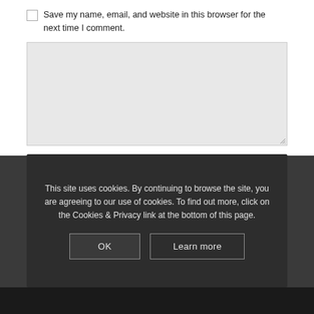Save my name, email, and website in this browser for the next time I comment.
[Figure (screenshot): A large empty textarea input box with a resize handle at the bottom right corner]
This site uses cookies. By continuing to browse the site, you are agreeing to our use of cookies. To find out more, click on the Cookies & Privacy link at the bottom of this page.
OK
Learn more